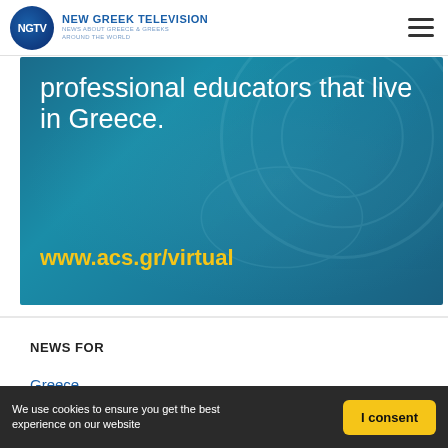NGTV | NEW GREEK TELEVISION | NEWS ABOUT GREECE & GREEKS AROUND THE WORLD
[Figure (photo): Banner advertisement for ACS Athens virtual program for professional educators that live in Greece, showing text 'professional educators that live in Greece.' and URL 'www.acs.gr/virtual' in yellow on a teal/blue background]
NEWS FOR
Greece
U.S.
We use cookies to ensure you get the best experience on our website